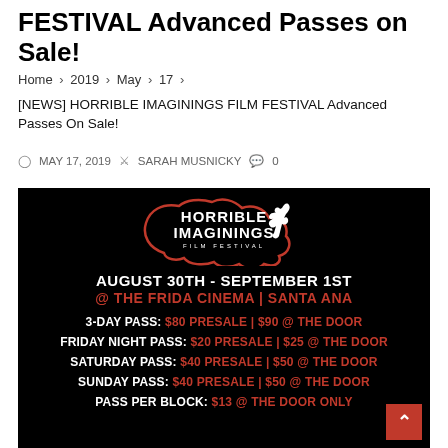FESTIVAL Advanced Passes on Sale!
Home > 2019 > May > 17 >
[NEWS] HORRIBLE IMAGININGS FILM FESTIVAL Advanced Passes On Sale!
MAY 17, 2019  SARAH MUSNICKY  0
[Figure (infographic): Horrible Imaginings Film Festival promotional image on black background. Shows logo, event dates August 30th - September 1st @ The Frida Cinema | Santa Ana, and ticket prices: 3-Day Pass $80 Presale | $90 @ The Door; Friday Night Pass $20 Presale | $25 @ The Door; Saturday Pass $40 Presale | $50 @ The Door; Sunday Pass $40 Presale | $50 @ The Door; Pass Per Block $13 @ The Door Only.]